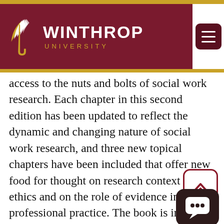[Figure (logo): Winthrop University logo: maroon background with stylized wing icon and text 'WINTHROP UNIVERSITY' in white and gold, plus hamburger menu button on the right]
access to the nuts and bolts of social work research. Each chapter in this second edition has been updated to reflect the dynamic and changing nature of social work research, and three new topical chapters have been included that offer new food for thought on research context and ethics and on the role of evidence in professional practice. The book is intended as a resource to complement the dense and heavy research books available. This text provides the tools students need to fully engage with their research and is an essential reference aid for use alongside professional literature for selecting a problem for social work research with consideration of context and ethics; identifying a design type; developing or selecting an